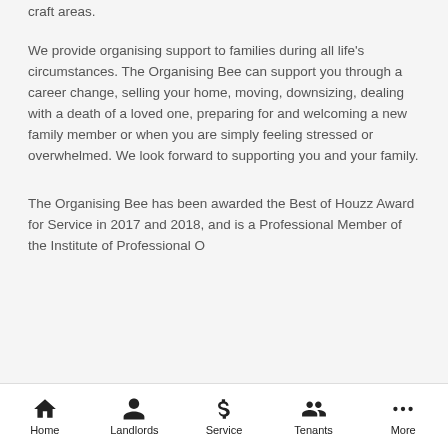craft areas.
We provide organising support to families during all life's circumstances. The Organising Bee can support you through a career change, selling your home, moving, downsizing, dealing with a death of a loved one, preparing for and welcoming a new family member or when you are simply feeling stressed or overwhelmed. We look forward to supporting you and your family.
The Organising Bee has been awarded the Best of Houzz Award for Service in 2017 and 2018, and is a Professional Member of the Institute of Professional Organisers (IPC) and the National Association of...
Home | Landlords | Service | Tenants | More